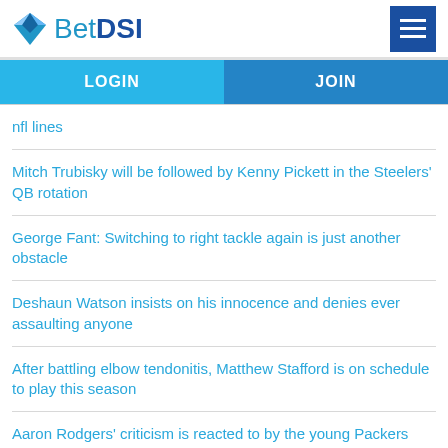BetDSI
LOGIN
JOIN
nfl lines
Mitch Trubisky will be followed by Kenny Pickett in the Steelers' QB rotation
George Fant: Switching to right tackle again is just another obstacle
Deshaun Watson insists on his innocence and denies ever assaulting anyone
After battling elbow tendonitis, Matthew Stafford is on schedule to play this season
Aaron Rodgers' criticism is reacted to by the young Packers receivers